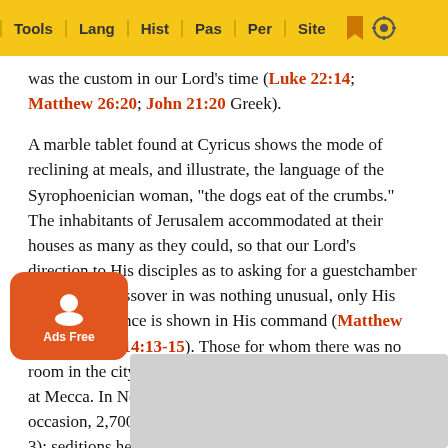Tools | Lang | Hist | Pas | Per | Site
was the custom in our Lord's time (Luke 22:14; Matthew 26:20; John 21:20 Greek).
A marble tablet found at Cyricus shows the mode of reclining at meals, and illustrate, the language of the Syrophoenician woman, "the dogs eat of the crumbs." The inhabitants of Jerusalem accommodated at their houses as many as they could, so that our Lord's direction to His disciples as to asking for a guestchamber to keep the Passover in was nothing unusual, only His divine prescience is shown in His command (Matthew 26:18; Mark 14:13-15). Those for whom there was no room in the city camped outside in tents, as the pilgrims at Mecca. In Nero's reign they numbered, on one occasion, 2,700,000, according to Josephus (B. J. 6:9, ion 3); seditions hence arose (Matthew 26:5; Luke 13:1). r the Passover meal many of the country pilgrims return home t the Passo